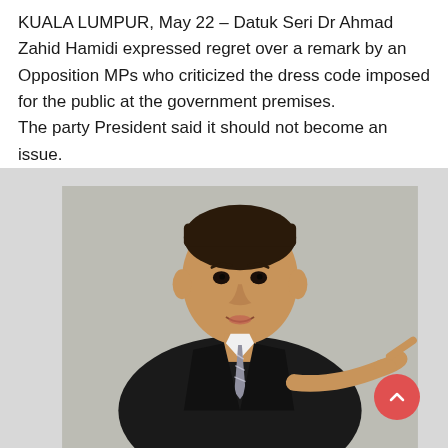KUALA LUMPUR, May 22 – Datuk Seri Dr Ahmad Zahid Hamidi expressed regret over a remark by an Opposition MPs who criticized the dress code imposed for the public at the government premises.
The party President said it should not become an issue.
[Figure (photo): A man in a dark suit and striped tie, pointing with his right hand, appearing to be speaking or making a point, photographed in an indoor setting with a grey background.]